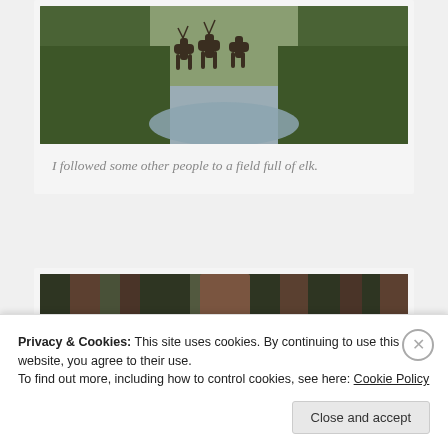[Figure (photo): Elk crossing a gravel path through green forest undergrowth]
I followed some other people to a field full of elk.
[Figure (photo): Tall redwood trees in a forest with sunlight filtering through, and a person visible lower right]
Privacy & Cookies: This site uses cookies. By continuing to use this website, you agree to their use.
To find out more, including how to control cookies, see here: Cookie Policy
Close and accept